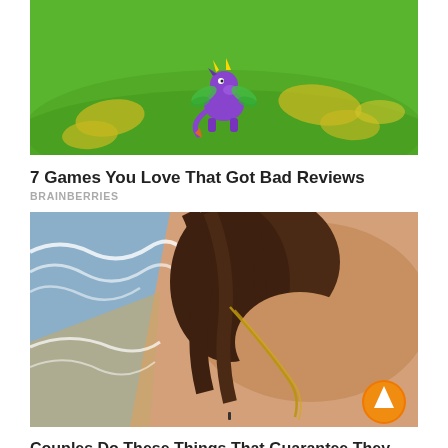[Figure (screenshot): Video game screenshot showing a purple dragon character (Spyro) on a green grassy field with yellow patches on the ground]
7 Games You Love That Got Bad Reviews
BRAINBERRIES
[Figure (photo): Close-up photo of a person's neck/collarbone area with hair and a chain necklace, with ocean waves and beach sand on the left side. An orange upward-arrow button is visible in the bottom right corner.]
Couples Do These Things That Guarantee They Stay Together